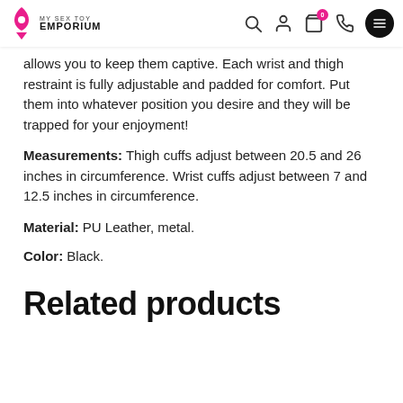MY SEX TOY EMPORIUM
allows you to keep them captive. Each wrist and thigh restraint is fully adjustable and padded for comfort. Put them into whatever position you desire and they will be trapped for your enjoyment!
Measurements: Thigh cuffs adjust between 20.5 and 26 inches in circumference. Wrist cuffs adjust between 7 and 12.5 inches in circumference.
Material: PU Leather, metal.
Color: Black.
Related products